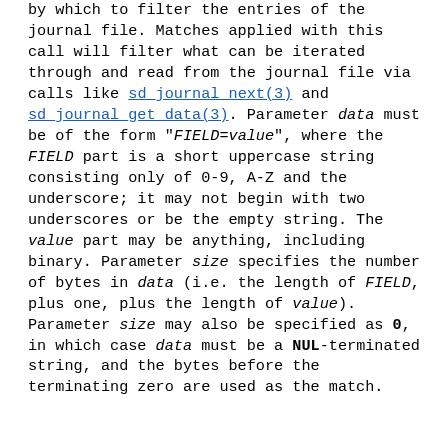by which to filter the entries of the journal file. Matches applied with this call will filter what can be iterated through and read from the journal file via calls like sd_journal_next(3) and sd_journal_get_data(3). Parameter data must be of the form "FIELD=value", where the FIELD part is a short uppercase string consisting only of 0-9, A-Z and the underscore; it may not begin with two underscores or be the empty string. The value part may be anything, including binary. Parameter size specifies the number of bytes in data (i.e. the length of FIELD, plus one, plus the length of value). Parameter size may also be specified as 0, in which case data must be a NUL-terminated string, and the bytes before the terminating zero are used as the match.